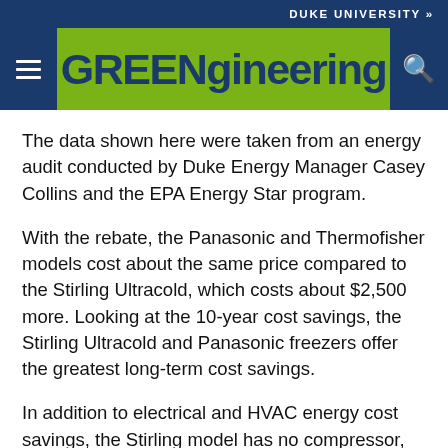DUKE UNIVERSITY »
GREENgineering
The data shown here were taken from an energy audit conducted by Duke Energy Manager Casey Collins and the EPA Energy Star program.
With the rebate, the Panasonic and Thermofisher models cost about the same price compared to the Stirling Ultracold, which costs about $2,500 more. Looking at the 10-year cost savings, the Stirling Ultracold and Panasonic freezers offer the greatest long-term cost savings.
In addition to electrical and HVAC energy cost savings, the Stirling model has no compressor, so the normal compressor rebuild after several years is not a consideration in this model.